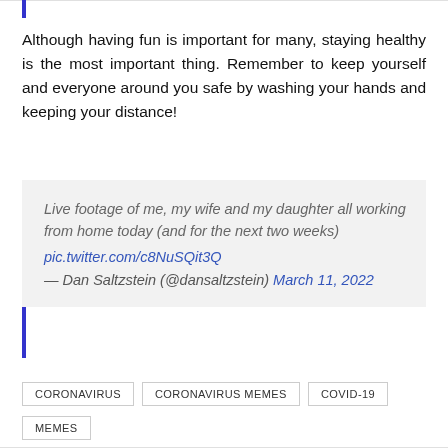Although having fun is important for many, staying healthy is the most important thing. Remember to keep yourself and everyone around you safe by washing your hands and keeping your distance!
Live footage of me, my wife and my daughter all working from home today (and for the next two weeks) pic.twitter.com/c8NuSQit3Q — Dan Saltzstein (@dansaltzstein) March 11, 2022
CORONAVIRUS
CORONAVIRUS MEMES
COVID-19
MEMES